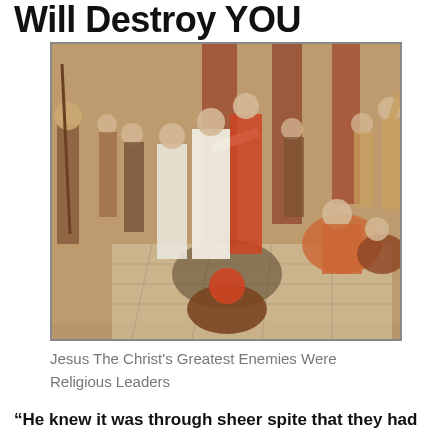Will Destroy YOU
[Figure (illustration): A classical painting depicting Jesus Christ standing before religious leaders and scribes in a grand hall with red columns. Jesus is in white robes gesturing while figures in robes surround him, some seated on the floor writing, others standing in animated discussion.]
Jesus The Christ's Greatest Enemies Were Religious Leaders
“He knew it was through sheer spite that they had